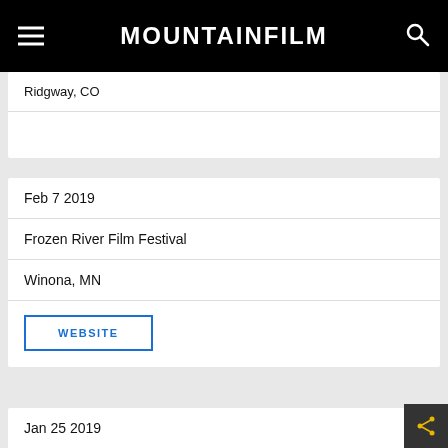MOUNTAINFILM
Ridgway, CO
Feb 7 2019
Frozen River Film Festival
Winona, MN
WEBSITE
Jan 25 2019